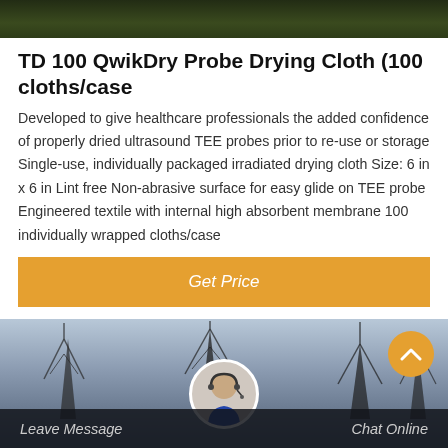[Figure (photo): Top image showing dark green/foliage background strip]
TD 100 QwikDry Probe Drying Cloth (100 cloths/case
Developed to give healthcare professionals the added confidence of properly dried ultrasound TEE probes prior to re-use or storage Single-use, individually packaged irradiated drying cloth Size: 6 in x 6 in Lint free Non-abrasive surface for easy glide on TEE probe Engineered textile with internal high absorbent membrane 100 individually wrapped cloths/case
[Figure (other): Orange Get Price button]
[Figure (photo): Bottom image showing electrical transmission towers/antennas against sky, with customer service representative avatar, scroll-up button, Leave Message and Chat Online footer bar]